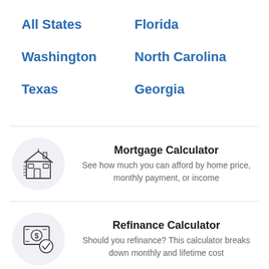All States
Florida
Washington
North Carolina
Texas
Georgia
[Figure (illustration): House/building icon in outline style]
Mortgage Calculator
See how much you can afford by home price, monthly payment, or income
[Figure (illustration): Money/refinance icon with dollar sign and checkmark]
Refinance Calculator
Should you refinance? This calculator breaks down monthly and lifetime cost